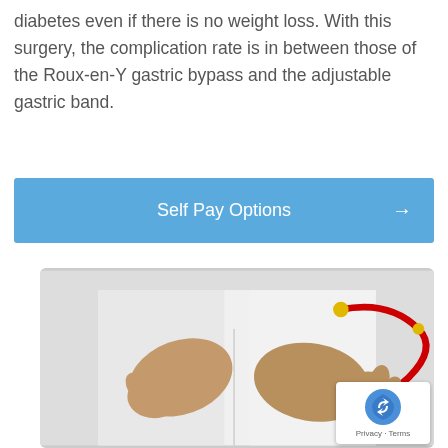diabetes even if there is no weight loss. With this surgery, the complication rate is in between those of the Roux-en-Y gastric bypass and the adjustable gastric band.
Self Pay Options →
[Figure (photo): Doctor in white coat with arms crossed, holding a red stethoscope]
Privacy · Terms